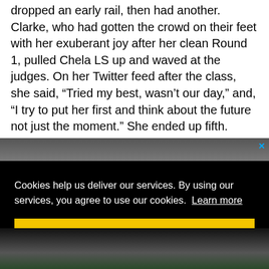dropped an early rail, then had another. Clarke, who had gotten the crowd on their feet with her exuberant joy after her clean Round 1, pulled Chela LS up and waved at the judges. On her Twitter feed after the class, she said, "Tried my best, wasn't our day," and, "I try to put her first and think about the future not just the moment." She ended up fifth.
[Figure (photo): Partial photograph visible at top, appears to be a dark outdoor or indoor scene. A blue X close button is visible in the top right corner of the image area.]
Cookies help us deliver our services. By using our services, you agree to use our cookies.  Learn more
Got it!
[Figure (photo): Partial photograph at the bottom of the page showing figures outdoors with green foliage in background.]